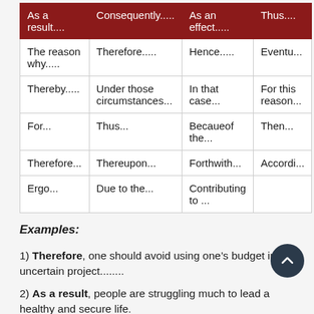| As a result.... | Consequently..... | As an effect..... | Thus.... |
| --- | --- | --- | --- |
| The reason why..... | Therefore..... | Hence..... | Eventu... |
| Thereby..... | Under those circumstances... | In that case... | For this reason... |
| For... | Thus... | Becaueof the... | Then... |
| Therefore... | Thereupon... | Forthwith... | Accordi... |
| Ergo... | Due to the... | Contributing to ... |  |
Examples:
1) Therefore, one should avoid using one's budget in an uncertain project........
2) As a result, people are struggling much to lead a healthy and secure life.